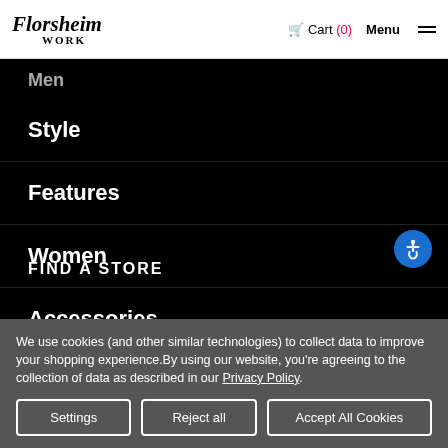Florsheim WORK — Cart (0) Menu
Men
Style
Features
Women
Accessories
FIND A STORE
We use cookies (and other similar technologies) to collect data to improve your shopping experience.By using our website, you're agreeing to the collection of data as described in our Privacy Policy.
Settings | Reject all | Accept All Cookies